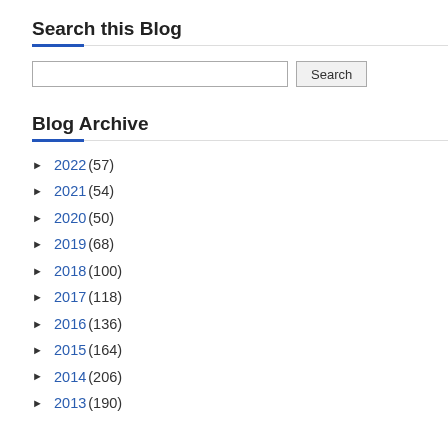Search this Blog
[Search input box and Search button]
Blog Archive
► 2022 (57)
► 2021 (54)
► 2020 (50)
► 2019 (68)
► 2018 (100)
► 2017 (118)
► 2016 (136)
► 2015 (164)
► 2014 (206)
► 2013 (190)